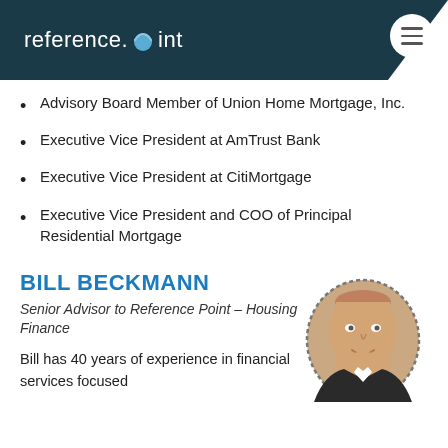reference.point
Advisory Board Member of Union Home Mortgage, Inc.
Executive Vice President at AmTrust Bank
Executive Vice President at CitiMortgage
Executive Vice President and COO of Principal Residential Mortgage
BILL BECKMANN
Senior Advisor to Reference Point – Housing Finance
Bill has 40 years of experience in financial services focused
[Figure (photo): Headshot photo of Bill Beckmann, a middle-aged man, displayed in a dashed circular frame]